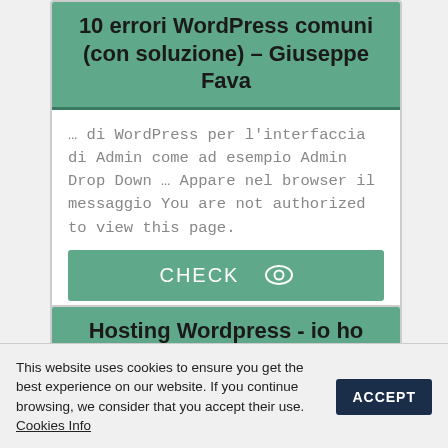10 errori WordPress comuni (con soluzione) – Giuseppe Fava
… di WordPress per l'interfaccia di Admin come ad esempio Admin Drop Down … Appare nel browser il messaggio You are not authorized to view this page.
CHECK
Hosting Wordpress - io ho scelto il migliore... e tu? - Giuseppe Fava
This website uses cookies to ensure you get the best experience on our website. If you continue browsing, we consider that you accept their use. Cookies Info